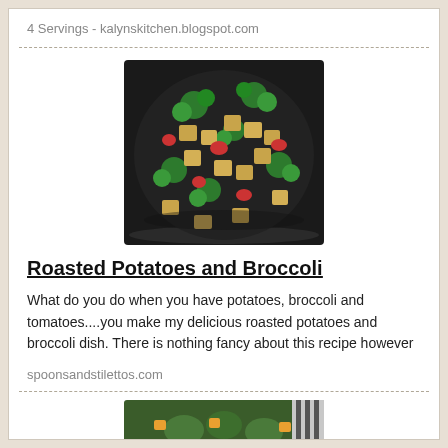4 Servings - kalynskitchen.blogspot.com
[Figure (photo): A dark pan/wok containing roasted broccoli florets, cubed potatoes, and red tomato pieces, shot from above]
Roasted Potatoes and Broccoli
What do you do when you have potatoes, broccoli and tomatoes....you make my delicious roasted potatoes and broccoli dish. There is nothing fancy about this recipe however
spoonsandstilettos.com
[Figure (photo): Partial view of another food dish at the bottom of the page]